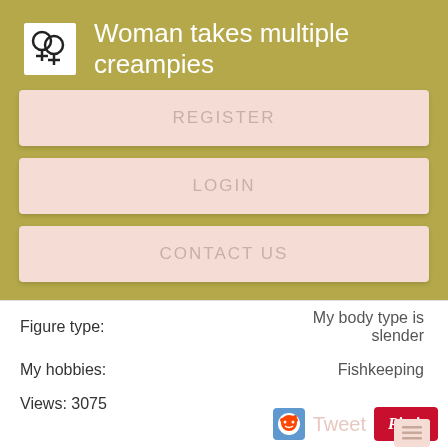Woman takes multiple creampies
REGISTER
LOGIN
CONTACT US
Figure type: My body type is slender
My hobbies: Fishkeeping
Views: 3075
Tweet